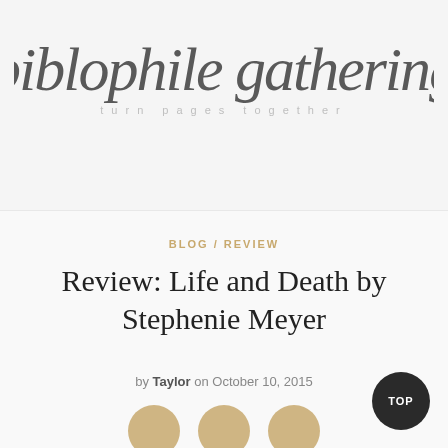[Figure (logo): Biblophile Gathering blog logo with script text 'biblophile gathering' and tagline 'turn pages together']
BLOG / REVIEW
Review: Life and Death by Stephenie Meyer
by Taylor on October 10, 2015
[Figure (illustration): Three tan/gold decorative circles in a row]
[Figure (other): Dark circular TOP button in the bottom right corner]